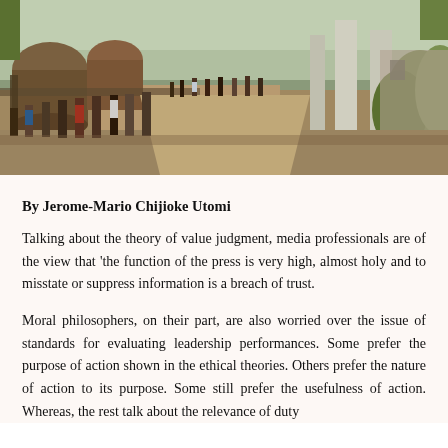[Figure (photo): Outdoor scene showing a group of people standing along a dirt path or road at an industrial or construction site. Large cylindrical structures and green vegetation visible in background. People appear to be observing or gathering.]
By Jerome-Mario Chijioke Utomi
Talking about the theory of value judgment, media professionals are of the view that 'the function of the press is very high, almost holy and to misstate or suppress information is a breach of trust.
Moral philosophers, on their part, are also worried over the issue of standards for evaluating leadership performances. Some prefer the purpose of action shown in the ethical theories. Others prefer the nature of action to its purpose. Some still prefer the usefulness of action. Whereas, the rest talk about the relevance of duty